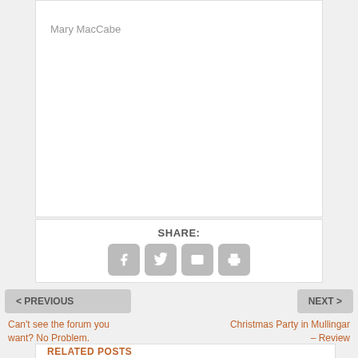Mary MacCabe
SHARE:
[Figure (other): Social share icons: Facebook, Twitter, Email, Print]
< PREVIOUS
Can't see the forum you want? No Problem.
NEXT >
Christmas Party in Mullingar – Review
RELATED POSTS